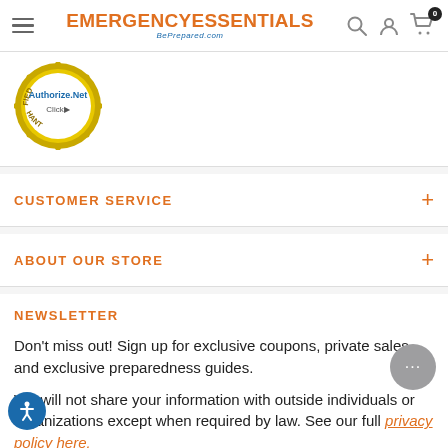EMERGENCY ESSENTIALS BePrepared.com
[Figure (logo): Authorize.Net Verified Merchant seal badge]
CUSTOMER SERVICE
ABOUT OUR STORE
NEWSLETTER
Don't miss out! Sign up for exclusive coupons, private sales and exclusive preparedness guides.
We will not share your information with outside individuals or organizations except when required by law. See our full privacy policy here.